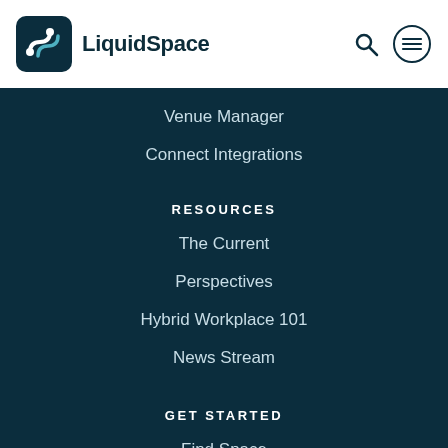LiquidSpace
Venue Manager
Connect Integrations
RESOURCES
The Current
Perspectives
Hybrid Workplace 101
News Stream
GET STARTED
Find Space
Browse Locations
Become a Host
Help